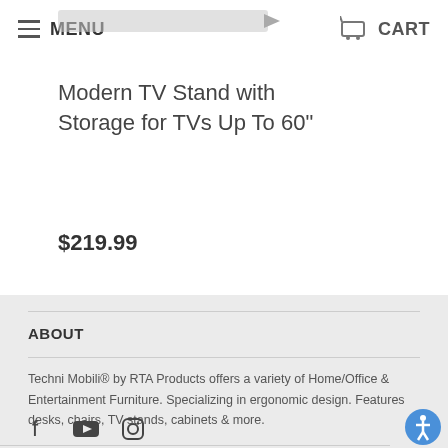MENU   CART
Modern TV Stand with Storage for TVs Up To 60"
$219.99
ABOUT
Techni Mobili® by RTA Products offers a variety of Home/Office & Entertainment Furniture. Specializing in ergonomic design. Features desks, chairs, TV stands, cabinets & more.
[Figure (other): Social media icons: Facebook, YouTube, Instagram]